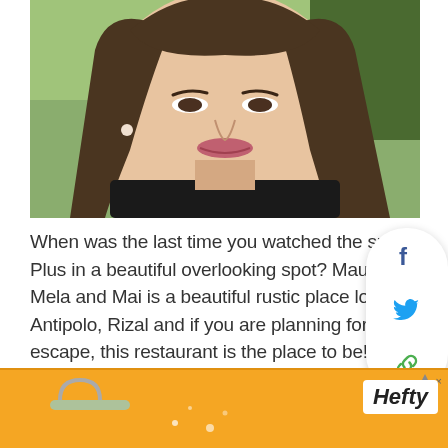[Figure (photo): Close-up selfie of a young woman with long dark hair, wearing a black top and pearl earring, smiling slightly, outdoors with greenery in background.]
When was the last time you watched the sunset? Plus in a beautiful overlooking spot? Maura's place Mela and Mai is a beautiful rustic place located at Antipolo, Rizal and if you are planning for a sweet escape, this restaurant is the place to be! At @maurasplace.ph , you can romantically watch the rise and the sunset, while enjoying the delicious food
[Figure (infographic): Social share panel with Facebook, Twitter, and link/copy icons in a rounded white card.]
[Figure (photo): Advertisement banner with orange background showing Hefty brand logo and partial product imagery.]